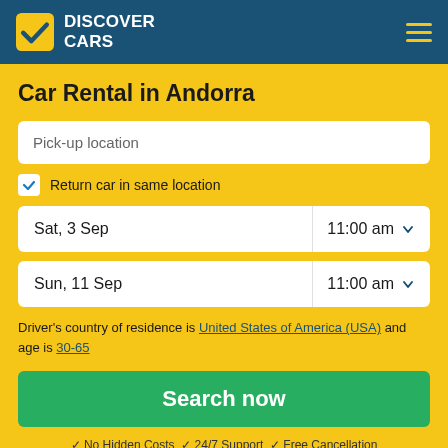Discover Cars
Car Rental in Andorra
Pick-up location
Return car in same location
Sat, 3 Sep   11:00 am
Sun, 11 Sep   11:00 am
Driver's country of residence is United States of America (USA) and age is 30-65
Search now
✓ No Hidden Costs ✓ 24/7 Support ✓ Free Cancellation